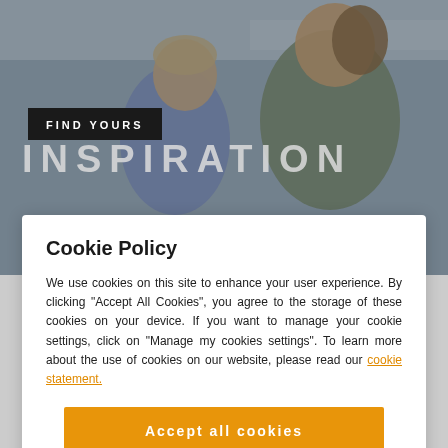[Figure (photo): Hero banner image showing two people (a young man and a woman) smiling together in a kitchen setting, with semi-transparent dark overlay and text 'FIND YOURS INSPIRATION']
Cookie Policy
We use cookies on this site to enhance your user experience. By clicking "Accept All Cookies", you agree to the storage of these cookies on your device. If you want to manage your cookie settings, click on "Manage my cookies settings". To learn more about the use of cookies on our website, please read our cookie statement.
Accept all cookies